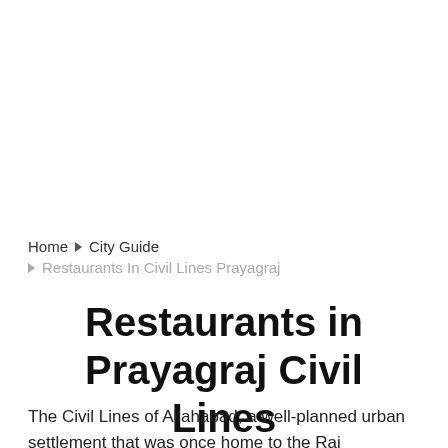Home ▶ City Guide ▶ Restaurants In Civil Lines Prayagraj
Restaurants in Prayagraj Civil Lines
The Civil Lines of Allahabad, a well-planned urban settlement that was once home to the Raj